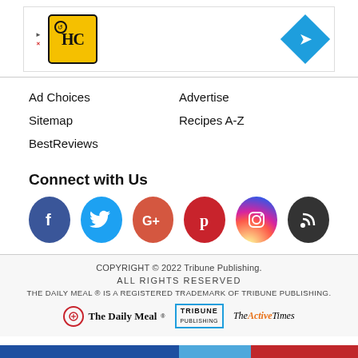[Figure (other): Advertisement banner with HC logo on yellow square on left and blue diamond arrow icon on right]
Ad Choices
Sitemap
BestReviews
Advertise
Recipes A-Z
Connect with Us
[Figure (other): Social media icons: Facebook, Twitter, Google+, Pinterest, Instagram, RSS]
COPYRIGHT © 2022 Tribune Publishing.
ALL RIGHTS RESERVED
THE DAILY MEAL ® IS A REGISTERED TRADEMARK OF TRIBUNE PUBLISHING.
[Figure (logo): Footer logos: The Daily Meal, Tribune Publishing, TheActiveTimes]